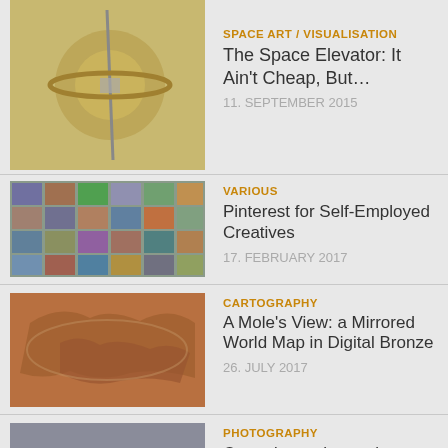SPACE ART / VISUALISATION | The Space Elevator: It Ain't Cheap, But... | 11. SEPTEMBER 2015
VARIOUS | Pinterest for Self-Employed Creatives | 17. FEBRUARY 2017
CARTOGRAPHY | A Mole's View: a Mirrored World Map in Digital Bronze | 26. JULY 2017
PHOTOGRAPHY | Countdown: the ten best photos of 2019 | 19. DECEMBER 2019
SPACE ART / VISUALISATION | Building a Planetary Road Sign